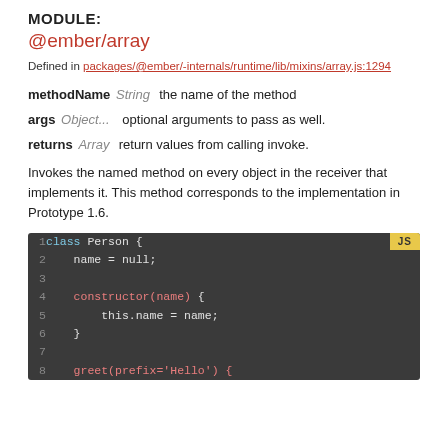MODULE:
@ember/array
Defined in packages/@ember/-internals/runtime/lib/mixins/array.js:1294
methodName String  the name of the method
args Object...  optional arguments to pass as well.
returns Array  return values from calling invoke.
Invokes the named method on every object in the receiver that implements it. This method corresponds to the implementation in Prototype 1.6.
[Figure (screenshot): JavaScript code block showing a class Person definition with constructor(name) method and greet(prefix='Hello') method stub, on a dark background with line numbers 1-8 and a JS badge.]